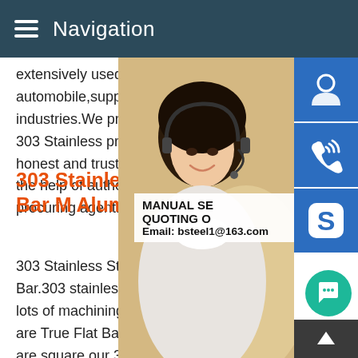Navigation
extensively used in automobile,supplying industries.We procure these 303 Stainless products from honest and trustworthy vendors the help of authentic procuring agent.
303 Stainless Steel Flat Bar M Aluminum
[Figure (photo): Woman with headset/customer service representative photo with sidebar icons for customer service, phone, and Skype. Overlay shows MANUAL SE, QUOTING O, Email: bsteel1@163.com]
303 Stainless Steel Flat Bar.303 stainless that require lots of machining.All of the sta are True Flat Bar,so the edges are square our 303 material is true bar not cut from a plate product also see Stainless Steel Bar - Hexes,Rounds,Squares 303 SS The most familiar stainless steel is probably Type 304,sometimes called T304 or simply 304.Type 304 surgical stainless steel is austenitic steel containing 18-20% chromium and 8-10% nickel.Filter Products Stainless Steel Bar - Hexes,Rounds,Squares 303 SS The mos